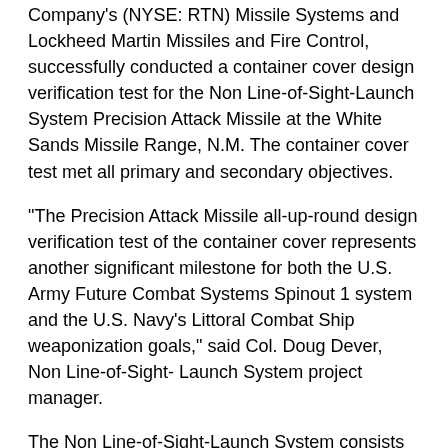Company's (NYSE: RTN) Missile Systems and Lockheed Martin Missiles and Fire Control, successfully conducted a container cover design verification test for the Non Line-of-Sight-Launch System Precision Attack Missile at the White Sands Missile Range, N.M. The container cover test met all primary and secondary objectives.
"The Precision Attack Missile all-up-round design verification test of the container cover represents another significant milestone for both the U.S. Army Future Combat Systems Spinout 1 system and the U.S. Navy's Littoral Combat Ship weaponization goals," said Col. Doug Dever, Non Line-of-Sight- Launch System project manager.
The Non Line-of-Sight-Launch System consists of Raytheon's Precision Attack Missile and a Container Launch Unit. In 2004, the Army accelerated fielding of the Non Line-of-Sight-Launch System Precision Attack Missile